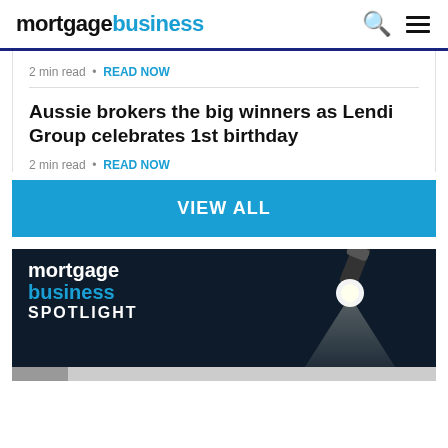mortgagebusiness
2 min read • READ NOW
Aussie brokers the big winners as Lendi Group celebrates 1st birthday
2 min read • READ NOW
VIEW ALL
[Figure (illustration): Mortgage Business Spotlight banner with spotlight beam graphic on dark navy background, showing text: mortgage, business (blue), SPOTLIGHT]